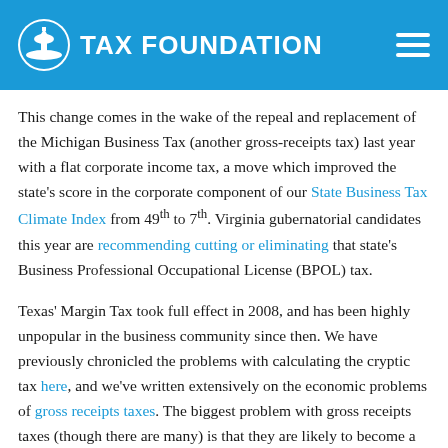TAX FOUNDATION
This change comes in the wake of the repeal and replacement of the Michigan Business Tax (another gross-receipts tax) last year with a flat corporate income tax, a move which improved the state's score in the corporate component of our State Business Tax Climate Index from 49th to 7th. Virginia gubernatorial candidates this year are recommending cutting or eliminating that state's Business Professional Occupational License (BPOL) tax.
Texas' Margin Tax took full effect in 2008, and has been highly unpopular in the business community since then. We have previously chronicled the problems with calculating the cryptic tax here, and we've written extensively on the economic problems of gross receipts taxes. The biggest problem with gross receipts taxes (though there are many) is that they are like...